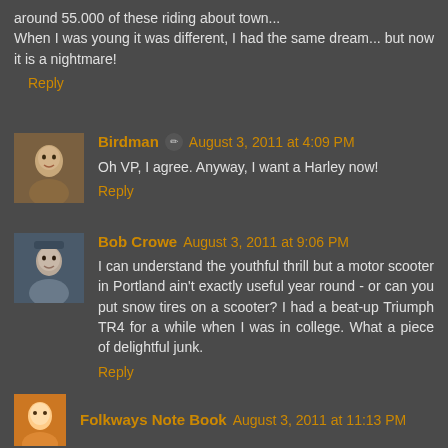around 55.000 of these riding about town...
When I was young it was different, I had the same dream... but now it is a nightmare!
Reply
Birdman ✏ August 3, 2011 at 4:09 PM
Oh VP, I agree. Anyway, I want a Harley now!
Reply
Bob Crowe August 3, 2011 at 9:06 PM
I can understand the youthful thrill but a motor scooter in Portland ain't exactly useful year round - or can you put snow tires on a scooter? I had a beat-up Triumph TR4 for a while when I was in college. What a piece of delightful junk.
Reply
Folkways Note Book August 3, 2011 at 11:13 PM